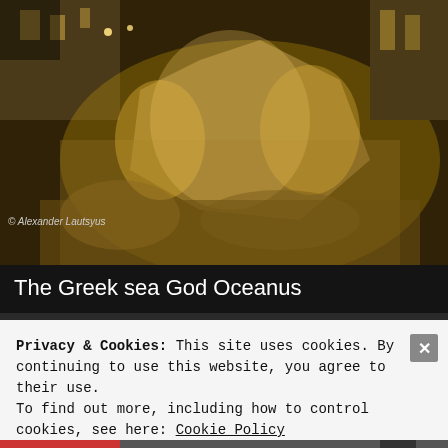[Figure (photo): Night-time photograph of the Trevi Fountain in Rome, showing illuminated marble statues and rock formations. The Greek sea God Oceanus sculpture is prominently lit against a dark background. Photo credit: Alexander Lautsyus.]
© Alexander Lautsyus
The Greek sea God Oceanus
[Figure (photo): Night-time photograph of Roman architecture with warm golden street lighting, showing classical building facades with columns and windows.]
Privacy & Cookies: This site uses cookies. By continuing to use this website, you agree to their use.
To find out more, including how to control cookies, see here: Cookie Policy
Close and accept